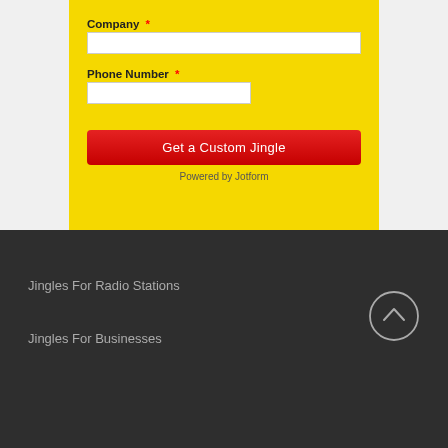Company *
Phone Number *
Get a Custom Jingle
Powered by Jotform
Jingles For Radio Stations
Jingles For Businesses